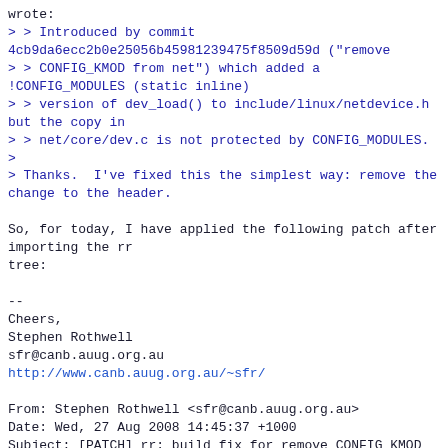wrote:
> > Introduced by commit 4cb9da6ecc2b0e25056b45981239475f8509d59d ("remove
> > CONFIG_KMOD from net") which added a !CONFIG_MODULES (static inline)
> > version of dev_load() to include/linux/netdevice.h but the copy in
> > net/core/dev.c is not protected by CONFIG_MODULES.
>
> Thanks.  I've fixed this the simplest way: remove the change to the header.

So, for today, I have applied the following patch after importing the rr
tree:

--
Cheers,
Stephen Rothwell
sfr@canb.auug.org.au
http://www.canb.auug.org.au/~sfr/

From: Stephen Rothwell <sfr@canb.auug.org.au>
Date: Wed, 27 Aug 2008 14:45:37 +1000
Subject: [PATCH] rr: build fix for remove CONFIG_KMOD from net

Signed-off-by: Stephen Rothwell <sfr@canb.auug.org.au>
---
 include/linux/netdevice.h |    4 ----